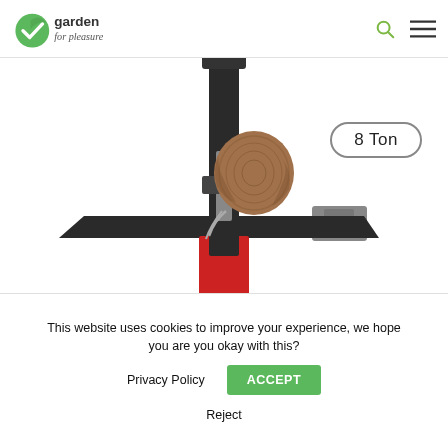garden for pleasure — navigation header with search and menu icons
[Figure (photo): Log splitter machine with 8 Ton capacity — vertical electric log splitter with red and grey body, black splitting wedge, and a large wood log on the splitting table]
8 Ton
This website uses cookies to improve your experience, we hope you are you okay with this?  Privacy Policy  ACCEPT  Reject